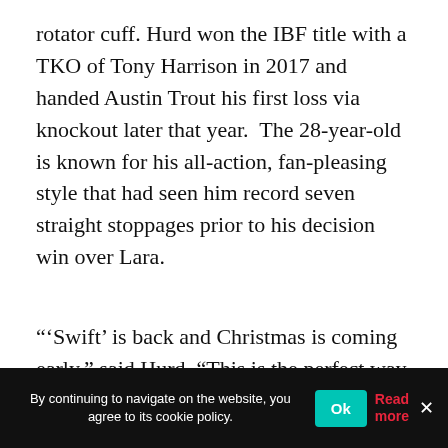rotator cuff. Hurd won the IBF title with a TKO of Tony Harrison in 2017 and handed Austin Trout his first loss via knockout later that year.  The 28-year-old is known for his all-action, fan-pleasing style that had seen him record seven straight stoppages prior to his decision win over Lara.
“‘Swift’ is back and Christmas is coming early,” said Hurd. “This is the perfect way to get ready for 2019. I expect it to be a big year with big fights that the fans will love. I’m locked in right now and ready to put on a great performance against Jason Welborn. Tune in on December 1, because I promise you it won’t go 12 rounds.”
By continuing to navigate on the website, you agree to its cookie policy.